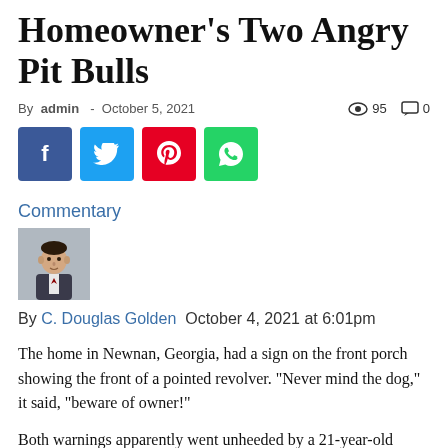Homeowner's Two Angry Pit Bulls
By admin - October 5, 2021  👁 95  💬 0
[Figure (infographic): Social share buttons: Facebook (blue), Twitter (light blue), Pinterest (red), WhatsApp (green)]
Commentary
[Figure (photo): Small headshot photo of a man in a suit]
By C. Douglas Golden  October 4, 2021 at 6:01pm
The home in Newnan, Georgia, had a sign on the front porch showing the front of a pointed revolver. "Never mind the dog," it said, "beware of owner!"
Both warnings apparently went unheeded by a 21-year-old